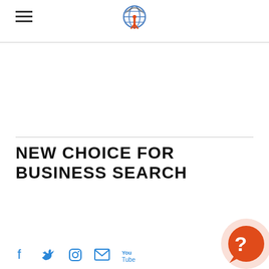Navigation header with hamburger menu and logo
NEW CHOICE FOR BUSINESS SEARCH
[Figure (screenshot): Search input box with placeholder text SEARCH and magnifying glass icon]
[Figure (infographic): Social media icons: Facebook, Twitter, Instagram, Email, YouTube in blue]
[Figure (illustration): Help/chat bubble icon — orange circle with white question mark, on pink background circle]